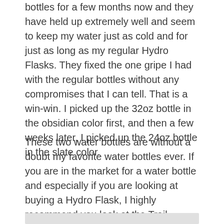bottles for a few months now and they have held up extremely well and seem to keep my water just as cold and for just as long as my regular Hydro Flasks. They fixed the one gripe I had with the regular bottles without any compromises that I can tell. That is a win-win. I picked up the 32oz bottle in the obsidian color first, and then a few weeks later, I picked up the 24oz bottle in the slate color.
These two water bottles are without a doubt my favorite water bottles ever. If you are in the market for a water bottle and especially if you are looking at buying a Hydro Flask, I highly recommend you look at the Trail Series. They are well worth the extra premium in my opinion.